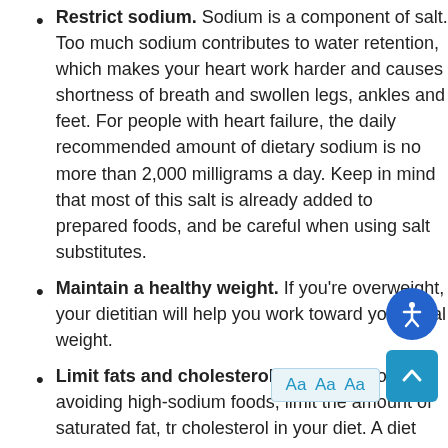Restrict sodium. Sodium is a component of salt. Too much sodium contributes to water retention, which makes your heart work harder and causes shortness of breath and swollen legs, ankles and feet. For people with heart failure, the daily recommended amount of dietary sodium is no more than 2,000 milligrams a day. Keep in mind that most of this salt is already added to prepared foods, and be careful when using salt substitutes.
Maintain a healthy weight. If you're overweight, your dietitian will help you work toward your ideal weight.
Limit fats and cholesterol. In addition to avoiding high-sodium foods, limit the amount of saturated fat, tr... cholesterol in your diet. A diet high in fat and cholesterol is a risk factor for coronary